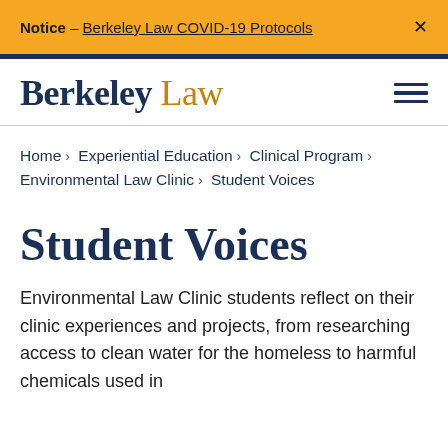Notice – Berkeley Law COVID-19 Protocols ×
[Figure (logo): Berkeley Law logo with hamburger menu icon]
Home > Experiential Education > Clinical Program > Environmental Law Clinic > Student Voices
Student Voices
Environmental Law Clinic students reflect on their clinic experiences and projects, from researching access to clean water for the homeless to harmful chemicals used in